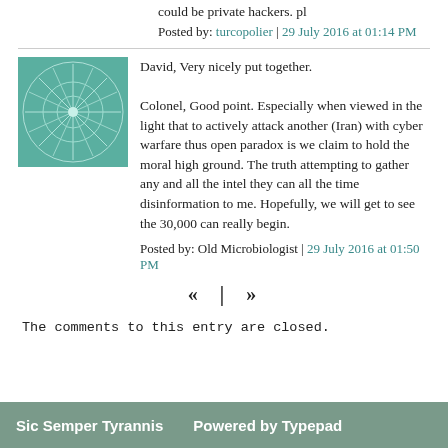could be private hackers. pl
Posted by: turcopolier | 29 July 2016 at 01:14 PM
[Figure (illustration): Avatar image: green/teal circular geometric pattern]
David, Very nicely put together.

Colonel, Good point. Especially when viewed in the light that to actively attack another (Iran) with cyber warfare thus open paradox is we claim to hold the moral high ground. The truth attempting to gather any and all the intel they can all the time disinformation to me. Hopefully, we will get to see the 30,000 can really begin.
Posted by: Old Microbiologist | 29 July 2016 at 01:50 PM
« | »
The comments to this entry are closed.
Sic Semper Tyrannis   Powered by Typepad